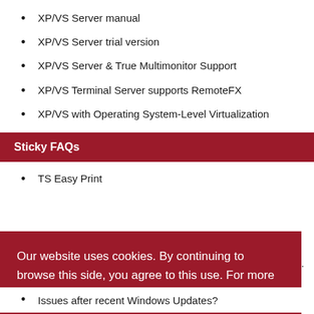XP/VS Server manual
XP/VS Server trial version
XP/VS Server & True Multimonitor Support
XP/VS Terminal Server supports RemoteFX
XP/VS with Operating System-Level Virtualization
Sticky FAQs
TS Easy Print
Our website uses cookies. By continuing to browse this side, you agree to this use. For more information see our privacy policy.
I understand.
Issues after recent Windows Updates?